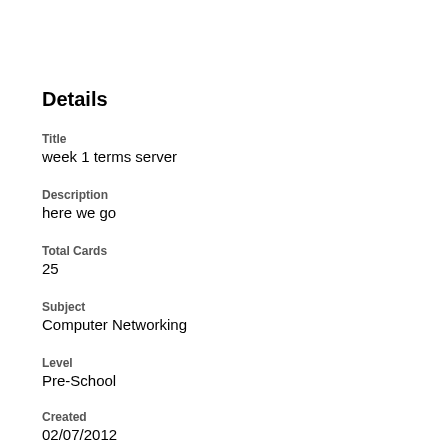Details
Title
week 1 terms server
Description
here we go
Total Cards
25
Subject
Computer Networking
Level
Pre-School
Created
02/07/2012